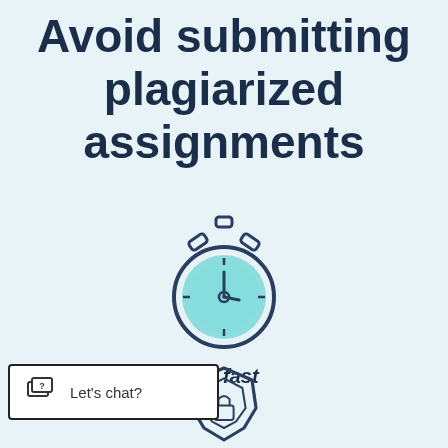Avoid submitting plagiarized assignments
[Figure (illustration): Stopwatch/timer icon with teal face and dark outline]
It’s fast
[Figure (illustration): Shield with padlock icon, partially visible at bottom]
Let's chat?